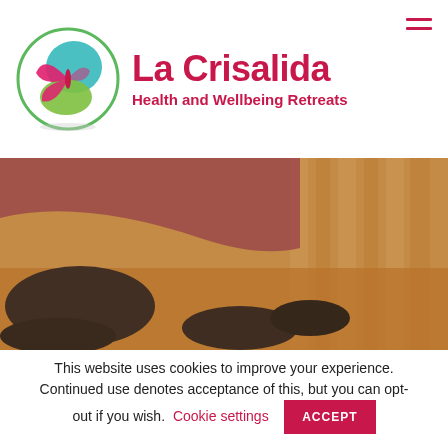[Figure (logo): La Crisalida Health and Wellbeing Retreats logo: circular globe with butterfly and leaves in pink, teal, and green, with brand name in magenta/pink text]
[Figure (photo): Close-up photo of hot stones placed on a massage table or person's back, warm amber/brown tones, dark smooth basalt stones]
This website uses cookies to improve your experience. Continued use denotes acceptance of this, but you can opt-out if you wish.
Cookie settings
ACCEPT